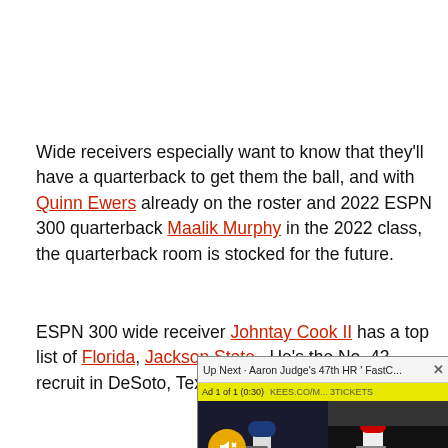Wide receivers especially want to know that they'll have a quarterback to get them the ball, and with Quinn Ewers already on the roster and 2022 ESPN 300 quarterback Maalik Murphy in the 2022 class, the quarterback room is stocked for the future.
ESPN 300 wide receiver Johntay Cook II has a top list of Florida, Jackson State, [partially obscured]. He's the No. 43 recruit [partially obscured] in DeSoto, Texas, and c[partially obscured] decision.
[Figure (screenshot): Video overlay player showing 'Up Next - Aaron Judge's 47th HR | FastC...' with ad indicator and muted playback of baseball game footage split between two scenes.]